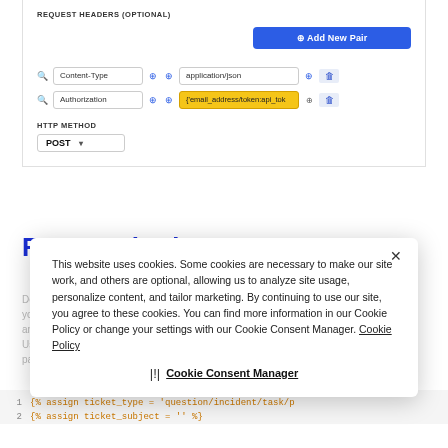REQUEST HEADERS (OPTIONAL)
[Figure (screenshot): UI panel showing request headers configuration with Content-Type: application/json and Authorization fields, plus an Add New Pair button and HTTP Method set to POST]
Request body
Define the ticket details like tags, subject, and status in your request body. Tickets are created and approved based on the Zendesk ticket API. Use the Zendesk API documentation to find out the payload and enter your desired fields.
This website uses cookies. Some cookies are necessary to make our site work, and others are optional, allowing us to analyze site usage, personalize content, and tailor marketing. By continuing to use our site, you agree to these cookies. You can find more information in our Cookie Policy or change your settings with our Cookie Consent Manager. Cookie Policy
Cookie Consent Manager
1    {% assign ticket_type = 'question/incident/task/p
2    {% assign ticket_subject = '' %}